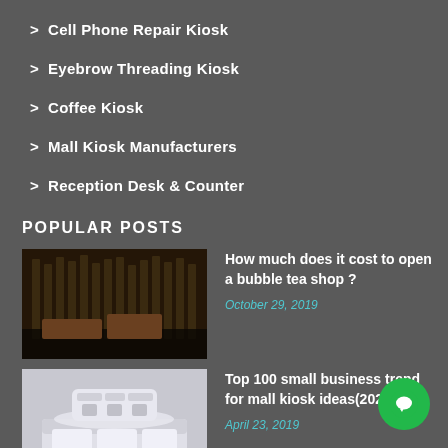Cell Phone Repair Kiosk
Eyebrow Threading Kiosk
Coffee Kiosk
Mall Kiosk Manufacturers
Reception Desk & Counter
POPULAR POSTS
[Figure (photo): Interior of a bubble tea shop with shelving]
How much does it cost to open a bubble tea shop ?
October 29, 2019
[Figure (photo): White mall kiosk display counter]
Top 100 small business trend for mall kiosk ideas(2021)
April 23, 2019
[Figure (photo): Outdoor mall kiosk]
What's the best mall kiosk business ideas?